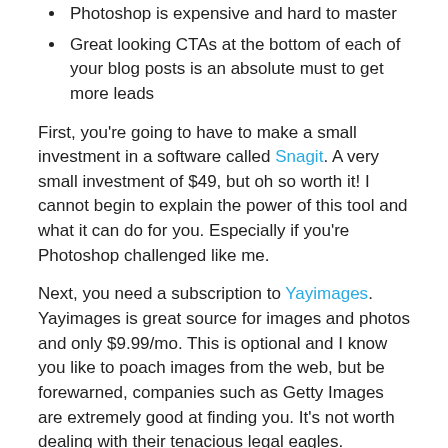Photoshop is expensive and hard to master
Great looking CTAs at the bottom of each of your blog posts is an absolute must to get more leads
First, you're going to have to make a small investment in a software called Snagit. A very small investment of $49, but oh so worth it! I cannot begin to explain the power of this tool and what it can do for you. Especially if you're Photoshop challenged like me.
Next, you need a subscription to Yayimages. Yayimages is great source for images and photos and only $9.99/mo. This is optional and I know you like to poach images from the web, but be forewarned, companies such as Getty Images are extremely good at finding you. It's not worth dealing with their tenacious legal eagles.
The Anatomy of a good Call to Action
A great CTA that has the following elements: